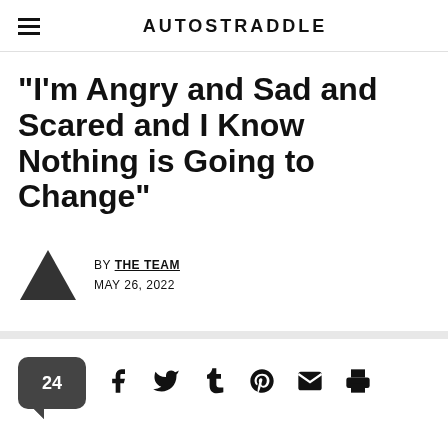AUTOSTRADDLE
“I’m Angry and Sad and Scared and I Know Nothing is Going to Change”
BY THE TEAM
MAY 26, 2022
24 [comments] [share icons: Facebook, Twitter, Tumblr, Pinterest, Email, Print]